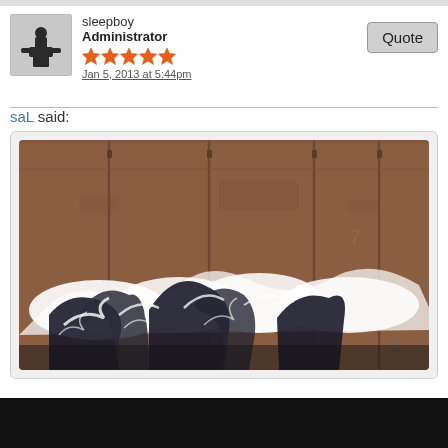sleepboy
Administrator
Jan 5, 2013 at 5:44pm
saL said:
[Figure (photo): Graffiti artwork on a brown/rust-colored train boxcar. The graffiti features large white swooping shapes with dark shadowed figures/letters rendered in a flowing wave-like style on the lower portion of the car.]